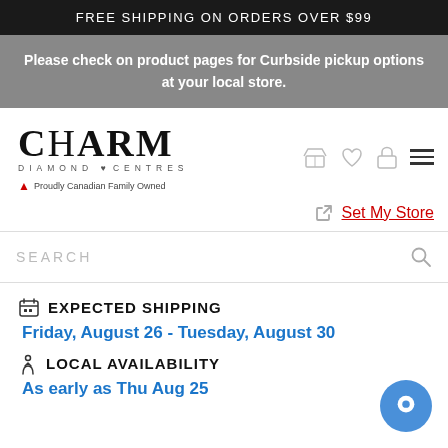FREE SHIPPING ON ORDERS OVER $99
Please check on product pages for Curbside pickup options at your local store.
[Figure (logo): Charm Diamond Centres logo with 'Proudly Canadian Family Owned' tagline]
Set My Store
SEARCH
EXPECTED SHIPPING
Friday, August 26 - Tuesday, August 30
LOCAL AVAILABILITY
As early as Thu Aug 25